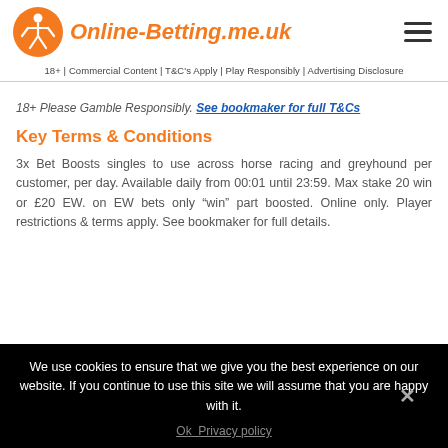Online-Betting.me.uk
18+ | Commercial Content | T&C's Apply | Play Responsibly | Advertising Disclosure
18+ Please Gamble Responsibly. See bookmaker for full T&Cs
Key Terms & Conditions
3x Bet Boosts singles to use across horse racing and greyhound per customer, per day. Available daily from 00:01 until 23:59. Max stake 20 win or £20 EW. on EW bets only “win” part boosted. Online only. Player restrictions & terms apply. See bookmaker for full details.
We use cookies to ensure that we give you the best experience on our website. If you continue to use this site we will assume that you are happy with it. Ok  Privacy policy